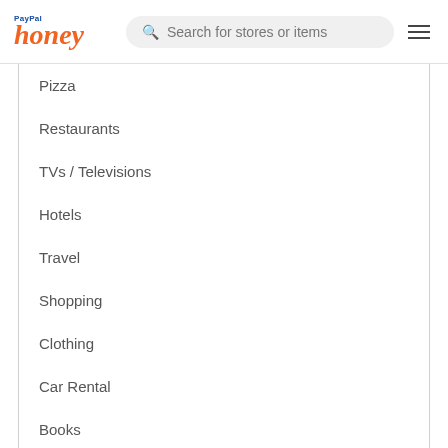PayPal honey — Search for stores or items
Pizza
Restaurants
TVs / Televisions
Hotels
Travel
Shopping
Clothing
Car Rental
Books
Beauty / Cosmetics